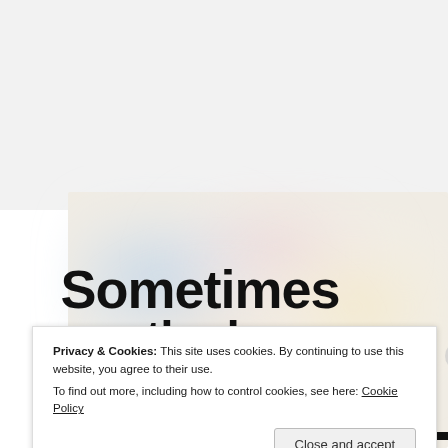[Figure (photo): Blurred colorful background image with soft pastel hues (blue, pink, yellow, white). Large handwritten-style text reads 'Sometimes' with partial text below it cut off by overlay.]
Privacy & Cookies: This site uses cookies. By continuing to use this website, you agree to their use.
To find out more, including how to control cookies, see here: Cookie Policy
Close and accept